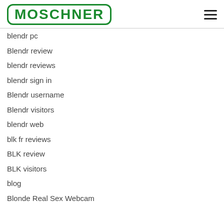[Figure (logo): MOSCHNER logo in green with rounded rectangle border]
blendr pc
Blendr review
blendr reviews
blendr sign in
Blendr username
Blendr visitors
blendr web
blk fr reviews
BLK review
BLK visitors
blog
Blonde Real Sex Webcam